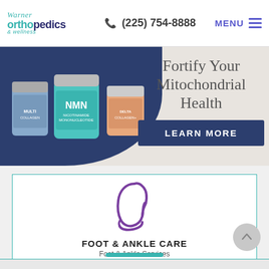Warner Orthopedics & Wellness — (225) 754-8888 — MENU
[Figure (screenshot): Advertisement banner for supplement products with text 'Fortify Your Mitochondrial Health' and a 'LEARN MORE' button. Shows three supplement jars (NMN and others) on a beige/navy background.]
[Figure (illustration): Purple line-art icon of a foot/ankle silhouette]
FOOT & ANKLE CARE
Foot & Ankle Services